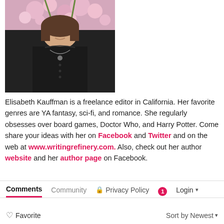[Figure (photo): Portrait photo of a young woman with dark hair wearing a black blouse with decorative neckline and a necklace, standing in front of flowering trees with pink blossoms]
Elisabeth Kauffman is a freelance editor in California. Her favorite genres are YA fantasy, sci-fi, and romance. She regularly obsesses over board games, Doctor Who, and Harry Potter. Come share your ideas with her on Facebook and Twitter and on the web at www.writingrefinery.com. Also, check out her author website and her author page on Facebook.
Comments   Community   Privacy Policy   1   Login   Favorite   Sort by Newest